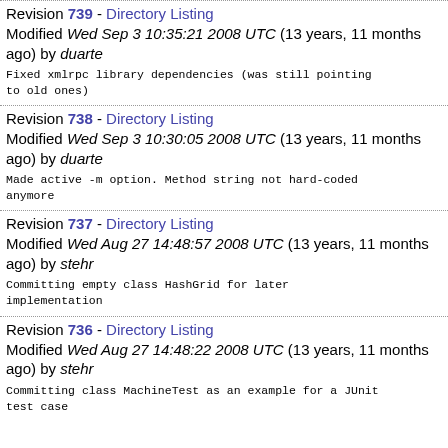Revision 739 - Directory Listing
Modified Wed Sep 3 10:35:21 2008 UTC (13 years, 11 months ago) by duarte
Fixed xmlrpc library dependencies (was still pointing to old ones)
Revision 738 - Directory Listing
Modified Wed Sep 3 10:30:05 2008 UTC (13 years, 11 months ago) by duarte
Made active -m option. Method string not hard-coded anymore
Revision 737 - Directory Listing
Modified Wed Aug 27 14:48:57 2008 UTC (13 years, 11 months ago) by stehr
Committing empty class HashGrid for later implementation
Revision 736 - Directory Listing
Modified Wed Aug 27 14:48:22 2008 UTC (13 years, 11 months ago) by stehr
Committing class MachineTest as an example for a JUnit test case